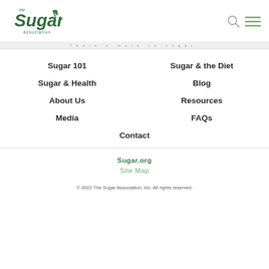[Figure (logo): The Sugar Association logo with green leaf and text]
There's more to sugar.
Sugar 101
Sugar & the Diet
Sugar & Health
Blog
About Us
Resources
Media
FAQs
Contact
Sugar.org
Site Map
© 2022 The Sugar Association, Inc. All rights reserved.